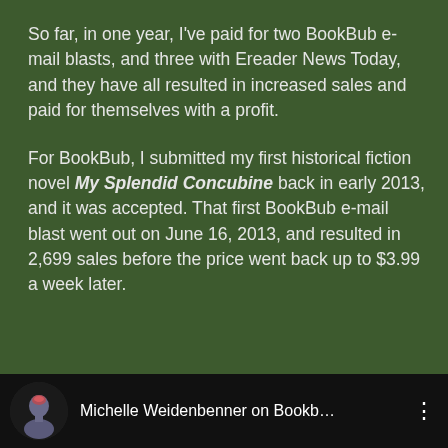So far, in one year, I've paid for two BookBub e-mail blasts, and three with Ereader News Today, and they have all resulted in increased sales and paid for themselves with a profit.
For BookBub, I submitted my first historical fiction novel My Splendid Concubine back in early 2013, and it was accepted. That first BookBub e-mail blast went out on June 16, 2013, and resulted in 2,699 sales before the price went back up to $3.99 a week later.
[Figure (screenshot): A dark video bar showing a profile icon with a human head graphic and the text 'Michelle Weidenbenner on Bookb...' with a vertical three-dot menu icon on the right.]